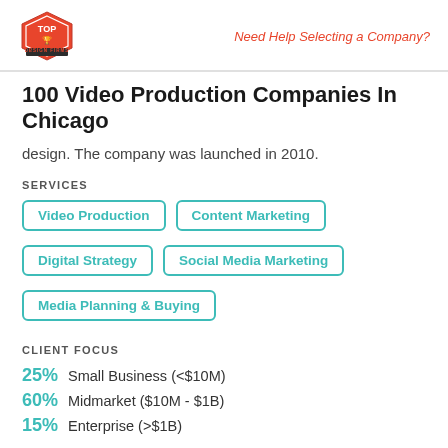Top Design Firms | Need Help Selecting a Company?
100 Video Production Companies In Chicago
design. The company was launched in 2010.
SERVICES
Video Production
Content Marketing
Digital Strategy
Social Media Marketing
Media Planning & Buying
CLIENT FOCUS
25% Small Business (<$10M)
60% Midmarket ($10M - $1B)
15% Enterprise (>$1B)